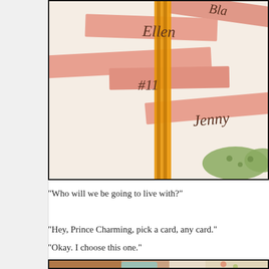[Figure (photo): Photo of pink paper strips/cards arranged with names written in cursive: 'Ellen', '#11', 'Jenny', and partially visible 'Bla...', tied with an orange striped ribbon and a green polka-dot ribbon, on a white surface]
"Who will we be going to live with?"
"Hey, Prince Charming, pick a card, any card."
"Okay. I choose this one."
[Figure (photo): Close-up photo of hands and small decorative items on a white fabric surface with a floral fabric visible at right edge]